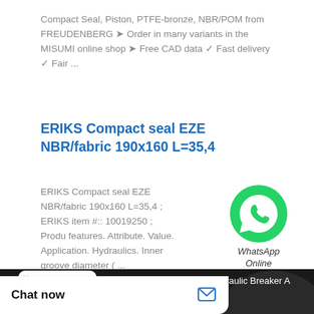Compact Seal, Piston, PTFE-bronze, NBR/POM from FREUDENBERG ➤ Order in many variants in the MISUMI online shop ➤ Free CAD data ✓ Fast delivery ✓ Fair ...
ERIKS Compact seal EZE NBR/fabric 190x160 L=35,4
ERIKS Compact seal EZE NBR/fabric 190x160 L=35,4 ; ERIKS item #:: 10019250 ; Product features. Attribute. Value. Application. Hydraulics. Inner groove diameter ( ...
[Figure (logo): WhatsApp green phone icon with WhatsApp Online text below]
[Figure (screenshot): Video thumbnail showing Krupp HM560 Diaphragm Hydraulic Breaker A with CERO widget overlay and dark background with circular diaphragm component]
Chat now